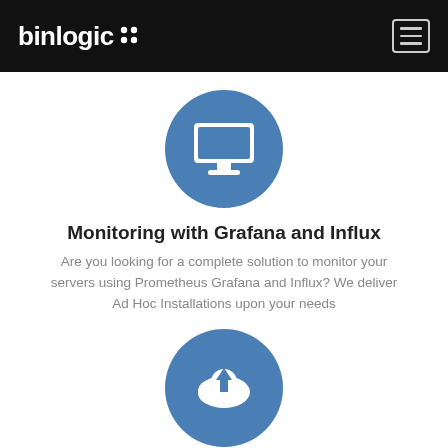binlogic
[Figure (illustration): Blue circle with white desktop monitor icon]
Monitoring with Grafana and Influx
Are you looking for a complete solution to monitor your servers using Prometheus Grafana and Influx? We deliver Ad Hoc Installations upon your needs
[Figure (illustration): Blue circle with white cloud upload icon]
Design
Our engineers have strong expertise ans skill to be your partners